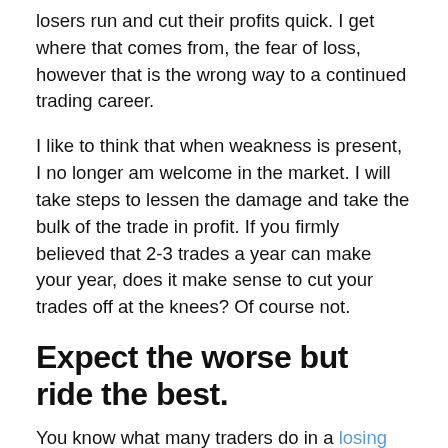losers run and cut their profits quick. I get where that comes from, the fear of loss, however that is the wrong way to a continued trading career.
I like to think that when weakness is present, I no longer am welcome in the market. I will take steps to lessen the damage and take the bulk of the trade in profit. If you firmly believed that 2-3 trades a year can make your year, does it make sense to cut your trades off at the knees? Of course not.
Expect the worse but ride the best.
You know what many traders do in a losing trade? They will talk themselves to stay in the trade because they